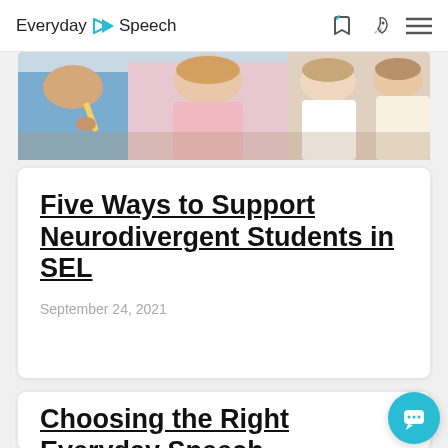Everyday Speech
[Figure (photo): Children at desks in a classroom, writing with pencils; several students visible including a girl in a pink top.]
Five Ways to Support Neurodivergent Students in SEL
September 24, 2021
Choosing the Right Everyday Speech